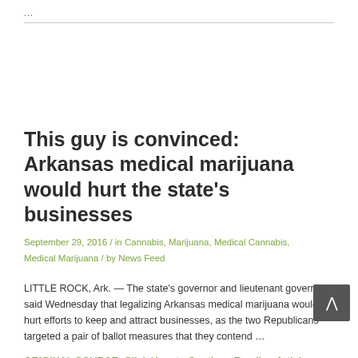...
This guy is convinced: Arkansas medical marijuana would hurt the state's businesses
September 29, 2016 / in Cannabis, Marijuana, Medical Cannabis, Medical Marijuana / by News Feed
LITTLE ROCK, Ark. — The state's governor and lieutenant governor said Wednesday that legalizing Arkansas medical marijuana would hurt efforts to keep and attract businesses, as the two Republicans targeted a pair of ballot measures that they contend …
ORIGINAL SOURCE: Click Here to Continue Reading Article...